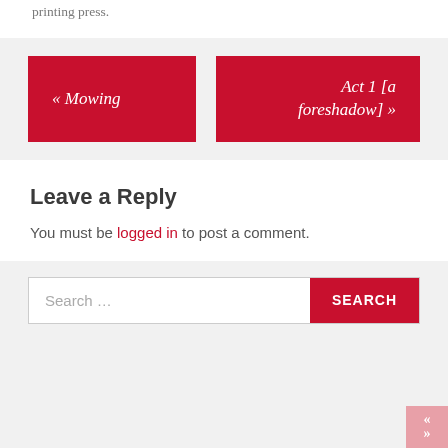printing press.
« Mowing
Act 1 [a foreshadow] »
Leave a Reply
You must be logged in to post a comment.